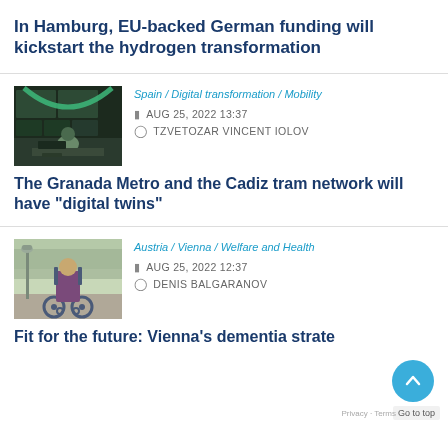In Hamburg, EU-backed German funding will kickstart the hydrogen transformation
[Figure (photo): Person working at a computer workstation with multiple monitors in a control room setting]
Spain / Digital transformation / Mobility
AUG 25, 2022 13:37
TZVETOZAR VINCENT IOLOV
The Granada Metro and the Cadiz tram network will have “digital twins”
[Figure (photo): Person in a wheelchair viewed from behind on a street]
Austria / Vienna / Welfare and Health
AUG 25, 2022 12:37
DENIS BALGARANOV
Fit for the future: Vienna’s dementia strate
Go to top